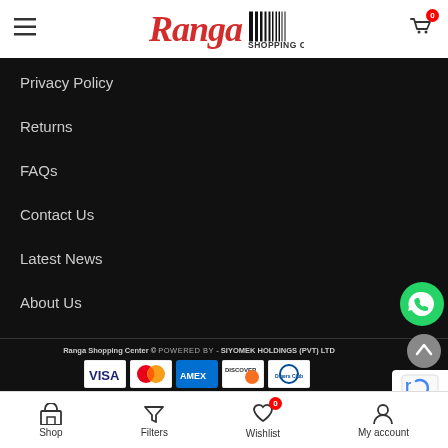Ranga Shopping Centre — header with hamburger menu and cart icon
Privacy Policy
Returns
FAQs
Contact Us
Latest News
About Us
Ranga Shopping Center © POWERED BY - SIYOMEK HOLDINGS (PVT) LTD
[Figure (logo): Payment method logos: Visa, Mastercard, American Express, Discover, Diners Club]
Shop | Filters | Wishlist (0) | My account